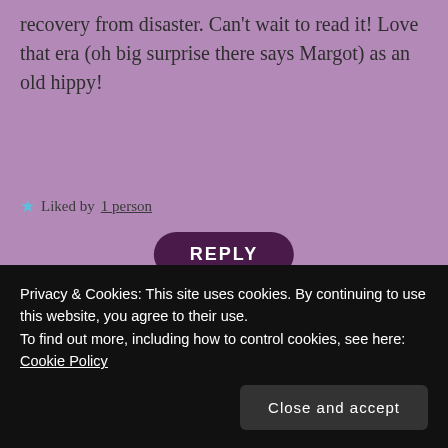recovery from disaster. Can't wait to read it! Love that era (oh big surprise there says Margot) as an old hippy!
★ Liked by 1 person
REPLY
[Figure (photo): Avatar photo of Margot Kinberg, a woman with dark hair and glasses]
Margot Kinberg
February 20, 2017 at 6:33 pm
Thanks, Jan. I'm so glad you liked the
Privacy & Cookies: This site uses cookies. By continuing to use this website, you agree to their use.
To find out more, including how to control cookies, see here: Cookie Policy
Close and accept
★ Liked by 1 person